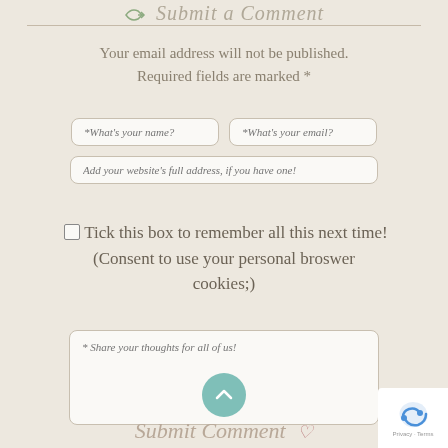Submit a Comment
Your email address will not be published. Required fields are marked *
What's your name? | What's your email? | Add your website's full address, if you have one!
Tick this box to remember all this next time! (Consent to use your personal broswer cookies;)
* Share your thoughts for all of us!
Submit Comment